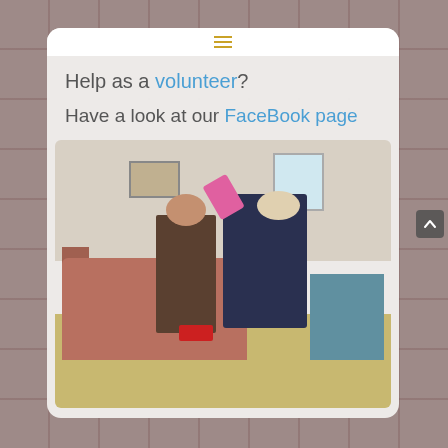≡ (hamburger menu icon)
Help as a volunteer?
Have a look at our FaceBook page
[Figure (photo): An elderly volunteer with white hair bending over a young girl sitting on a colorful sofa, blow-drying the girl's hair with a pink hair dryer. The girl is holding a red toy. The setting appears to be a modest indoor living space.]